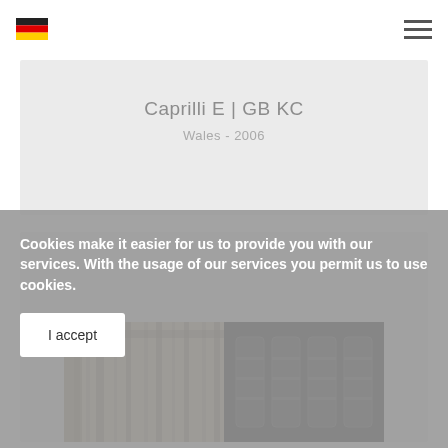German flag icon | Hamburger menu
Caprilli E | GB KC
Wales - 2006
[Figure (photo): A photograph showing a split image: left side shows metal cage/gate structures in lighter tones, right side shows dark background with cage/barrel-like objects]
Cookies make it easier for us to provide you with our services. With the usage of our services you permit us to use cookies.
I accept